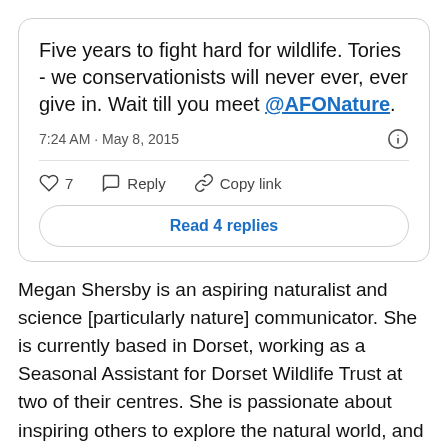[Figure (screenshot): Tweet card screenshot showing tweet text: 'Five years to fight hard for wildlife. Tories - we conservationists will never ever, ever give in. Wait till you meet @AFONature.' with timestamp 7:24 AM · May 8, 2015, 7 likes, Reply, Copy link actions, and Read 4 replies button.]
Megan Shersby is an aspiring naturalist and science [particularly nature] communicator. She is currently based in Dorset, working as a Seasonal Assistant for Dorset Wildlife Trust at two of their centres. She is passionate about inspiring others to explore the natural world, and can usually be found in nature reserve examining the local wildlife. If that fails, look for the nearest moth trap, as she'll probably be peering